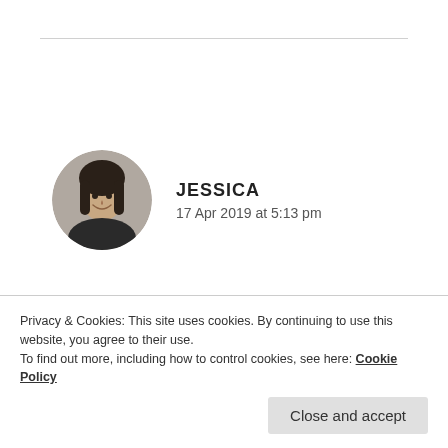[Figure (photo): Circular avatar photo of Jessica, a young woman smiling, wearing a dark jacket, outdoors.]
JESSICA
17 Apr 2019 at 5:13 pm
This is why I don't post everyday. I also used so much time to schedule my post so that I can enjoy more time outside blogging world. Also, it's always
Privacy & Cookies: This site uses cookies. By continuing to use this website, you agree to their use.
To find out more, including how to control cookies, see here: Cookie Policy
Close and accept